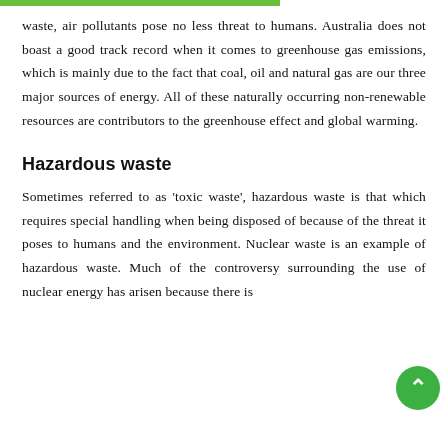waste, air pollutants pose no less threat to humans. Australia does not boast a good track record when it comes to greenhouse gas emissions, which is mainly due to the fact that coal, oil and natural gas are our three major sources of energy. All of these naturally occurring non-renewable resources are contributors to the greenhouse effect and global warming.
Hazardous waste
Sometimes referred to as 'toxic waste', hazardous waste is that which requires special handling when being disposed of because of the threat it poses to humans and the environment. Nuclear waste is an example of hazardous waste. Much of the controversy surrounding the use of nuclear energy has arisen because there is